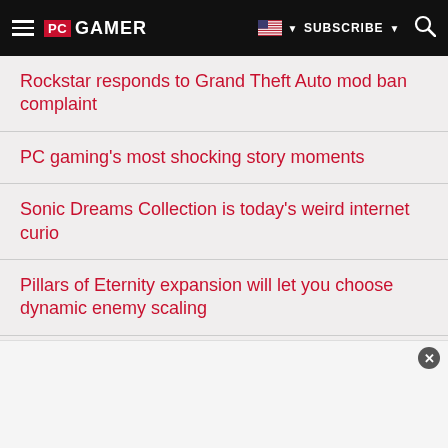PC GAMER — SUBSCRIBE
Rockstar responds to Grand Theft Auto mod ban complaint
PC gaming's most shocking story moments
Sonic Dreams Collection is today's weird internet curio
Pillars of Eternity expansion will let you choose dynamic enemy scaling
The story of Pillars of Eternity: The White March – Part I
Star Citizen social module features ships, shops and a pub
The best Rocket League plays of previous weeks